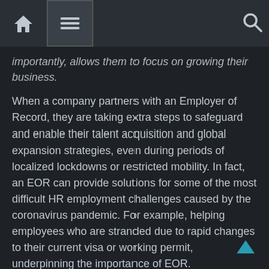[navigation bar with home, menu, and search icons]
importantly, allows them to focus on growing their business.
When a company partners with an Employer of Record, they are taking extra steps to safeguard and enable their talent acquisition and global expansion strategies, even during periods of localized lockdowns or restricted mobility. In fact, an EOR can provide solutions for some of the most difficult HR employment challenges caused by the coronavirus pandemic. For example, helping employees who are stranded due to rapid changes to their current visa or working permit, underpinning the importance of EOR.
EOR Company Types